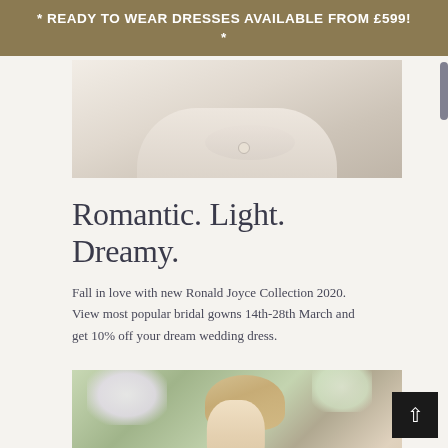* READY TO WEAR DRESSES AVAILABLE FROM £599! *
[Figure (photo): Close-up photo of a bride's hands resting on a white wedding dress]
Romantic. Light. Dreamy.
Fall in love with new Ronald Joyce Collection 2020. View most popular bridal gowns 14th-28th March and get 10% off your dream wedding dress.
[Figure (photo): Portrait photo of a blonde bride outdoors surrounded by white flowers and cherry blossom trees]